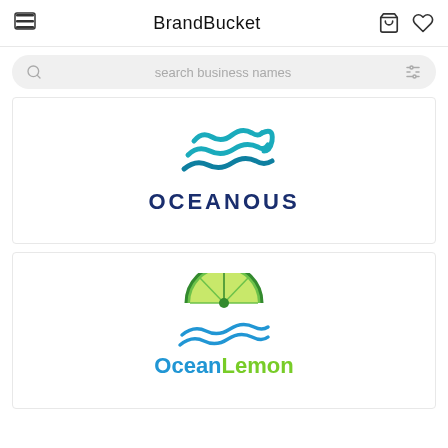BrandBucket
[Figure (logo): OCEANOUS logo with blue wave graphic above bold dark blue text reading OCEANOUS]
[Figure (logo): OceanLemon logo with green lemon slice half-circle above blue waves, text reads Ocean in blue and Lemon in green]